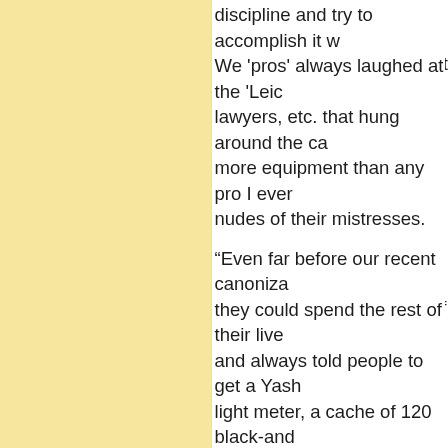discipline and try to accomplish it w... We 'pros' always laughed at the 'Leic... lawyers, etc. that hung around the ca... more equipment than any pro I ever... nudes of their mistresses.
"Even far before our recent canoniza... they could spend the rest of their live... and always told people to get a Yash... light meter, a cache of 120 black-and... processing tank, and an old B22 enla... I've met more photo artists that ascri... fascinated I am by their work. If I di... professional photography, I'd never s... everything but my RB and a few len... I'd spend a year and see if I could do... additional lighting at all!"
Posted on Tuesday, 23 April 2013 at 02:17 PM | Perma...